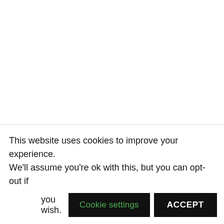2.8 billion mums on the planet & you're my favourite – card
This website uses cookies to improve your experience. We'll assume you're ok with this, but you can opt-out if you wish.